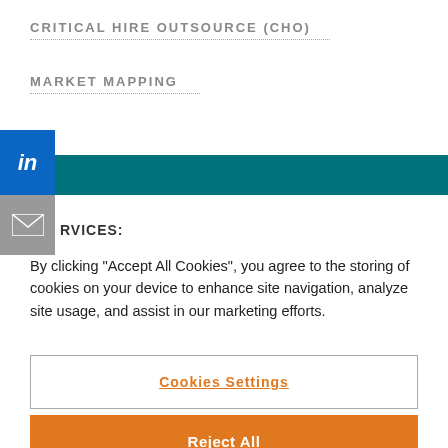CRITICAL HIRE OUTSOURCE (CHO)
MARKET MAPPING
[Figure (logo): LinkedIn icon — blue square with white 'in' text]
[Figure (illustration): Teal horizontal banner bar]
[Figure (illustration): Gray square with white envelope/mail icon]
RVICES:
By clicking “Accept All Cookies”, you agree to the storing of cookies on your device to enhance site navigation, analyze site usage, and assist in our marketing efforts.
Cookies Settings
Reject All